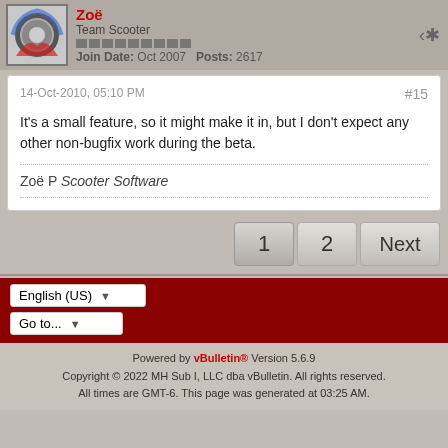Zoë
Team Scooter
Join Date: Oct 2007  Posts: 2617
14-Oct-2010, 05:10 PM
#15
It's a small feature, so it might make it in, but I don't expect any other non-bugfix work during the beta.
Zoë P Scooter Software
1  2  Next
English (US)
Go to...
Powered by vBulletin® Version 5.6.9
Copyright © 2022 MH Sub I, LLC dba vBulletin. All rights reserved.
All times are GMT-6. This page was generated at 03:25 AM.